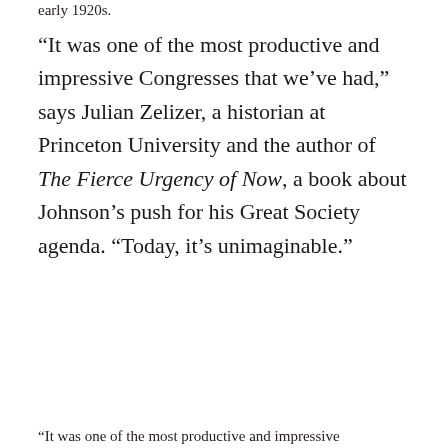early 1920s.
“It was one of the most productive and impressive Congresses that we’ve had,” says Julian Zelizer, a historian at Princeton University and the author of The Fierce Urgency of Now, a book about Johnson’s push for his Great Society agenda. “Today, it’s unimaginable.”
...